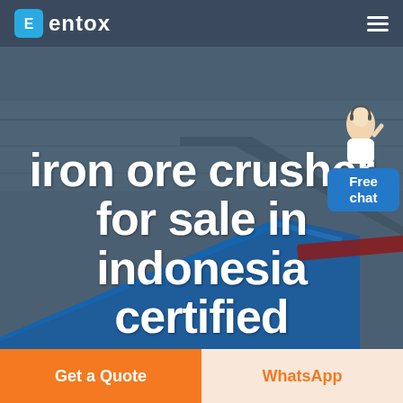entox
[Figure (photo): Aerial photograph of an industrial facility with a large blue roof structure in the foreground, flat fields and infrastructure visible in the background. Hero banner image for iron ore crusher product page.]
iron ore crusher for sale in indonesia certified
[Figure (illustration): Customer service agent illustration next to a blue 'Free chat' button widget in the top right corner]
Get a Quote
WhatsApp